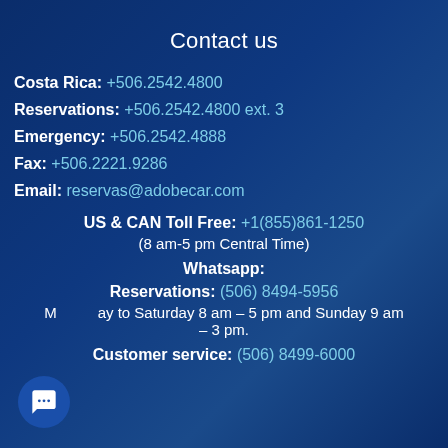Contact us
Costa Rica: +506.2542.4800
Reservations: +506.2542.4800 ext. 3
Emergency: +506.2542.4888
Fax: +506.2221.9286
Email: reservas@adobecar.com
US & CAN Toll Free: +1(855)861-1250 (8 am-5 pm Central Time)
Whatsapp:
Reservations: (506) 8494-5956
Monday to Saturday 8 am – 5 pm and Sunday 9 am – 3 pm.
Customer service: (506) 8499-6000